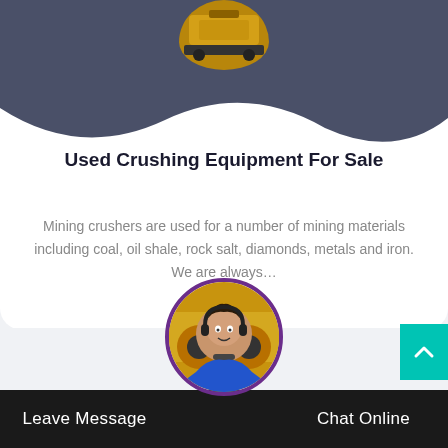[Figure (photo): Partial view of yellow industrial crushing equipment in a circular crop at top center of card]
Used Crushing Equipment For Sale
Mining crushers are used for a number of mining materials including coal, oil shale, rock salt, diamonds, metals and iron. We are always…
[Figure (photo): Circular avatar showing a customer service representative with headset overlapping on top of industrial crushing machinery image]
Leave Message   Chat Online